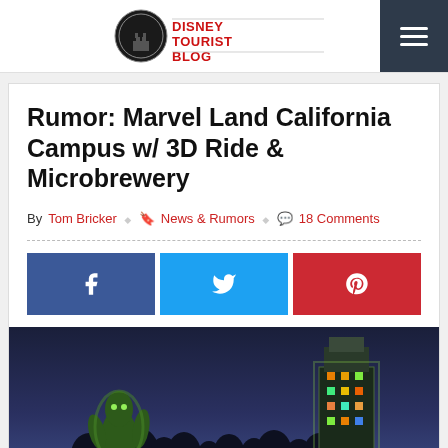DisneyTouristBlog
Rumor: Marvel Land California Campus w/ 3D Ride & Microbrewery
By Tom Bricker  |  News & Rumors  |  18 Comments
[Figure (infographic): Three social share buttons: Facebook (dark blue with f icon), Twitter (cyan with bird icon), Pinterest (red with P icon)]
[Figure (photo): Night photo of Disney California Adventure, showing a glowing Guardians of the Galaxy ride tower on the right and a large Groot statue on the left against a dark blue sky with trees in silhouette. The image fades to a light reflection at the bottom.]